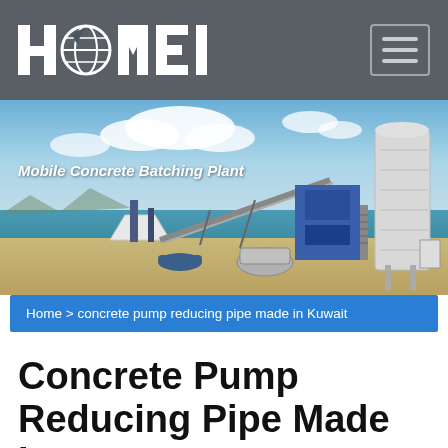HAOMEI
[Figure (photo): Mobile Concrete Batching Plant — industrial machinery with conveyor belt, silo, and mixing equipment set on a beach/coastal background with blue sky and clouds.]
Mobile Concrete Batching Plant
Home > concrete pump reducing pipe made in Kuwait
Concrete Pump Reducing Pipe Made In Kuwait